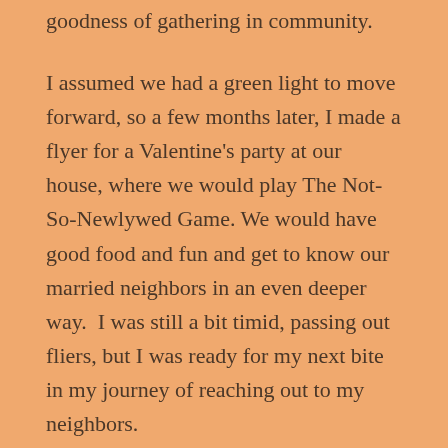goodness of gathering in community.
I assumed we had a green light to move forward, so a few months later, I made a flyer for a Valentine’s party at our house, where we would play The Not-So-Newlywed Game. We would have good food and fun and get to know our married neighbors in an even deeper way.  I was still a bit timid, passing out fliers, but I was ready for my next bite in my journey of reaching out to my neighbors.
The only problem was that no one showed up.  Not one neighbor came to ate pasta.  Not one neighbor stopped by to join in the laughter of playing a silly game.